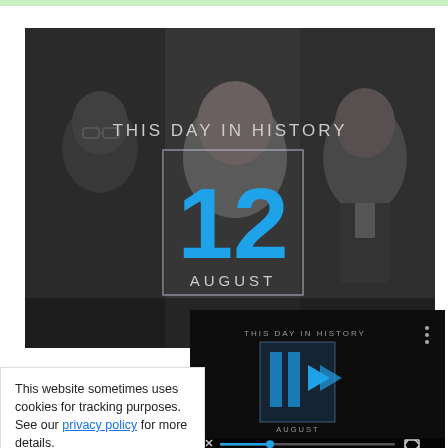[Figure (screenshot): This Day In History video thumbnail showing the number 12 in blue and AUGUST below it, with dark photos of people in the background]
[Figure (screenshot): Secondary This Day In History video player with play button, mute icon and fullscreen controls, showing AUGUST text]
This website sometimes uses cookies for tracking purposes. See our privacy policy for more details.